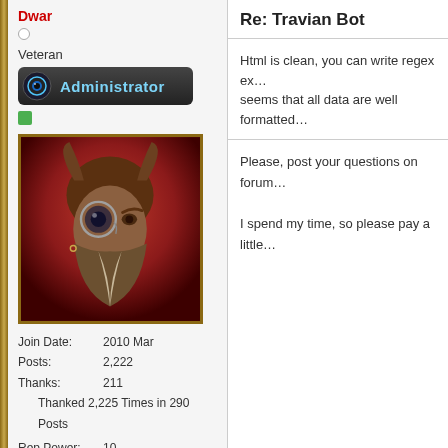Dwar
Veteran
[Figure (illustration): Administrator badge with eye icon]
[Figure (photo): Avatar of a fantasy dwarf warrior character with horned helmet, monocle, and beard on red background]
Join Date: 2010 Mar
Posts: 2,222
Thanks: 211
Thanked 2,225 Times in 290 Posts
Rep Power: 10
Re: Travian Bot
Html is clean, you can write regex ex... seems that all data are well formatted...
Please, post your questions on forum...
I spend my time, so please pay a little...